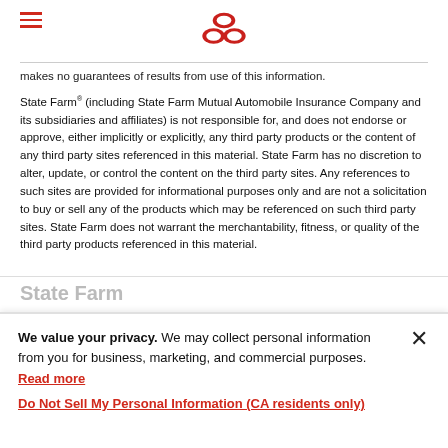State Farm logo and navigation menu
makes no guarantees of results from use of this information.
State Farm® (including State Farm Mutual Automobile Insurance Company and its subsidiaries and affiliates) is not responsible for, and does not endorse or approve, either implicitly or explicitly, any third party products or the content of any third party sites referenced in this material. State Farm has no discretion to alter, update, or control the content on the third party sites. Any references to such sites are provided for informational purposes only and are not a solicitation to buy or sell any of the products which may be referenced on such third party sites. State Farm does not warrant the merchantability, fitness, or quality of the third party products referenced in this material.
We value your privacy. We may collect personal information from you for business, marketing, and commercial purposes. Read more
Do Not Sell My Personal Information (CA residents only)